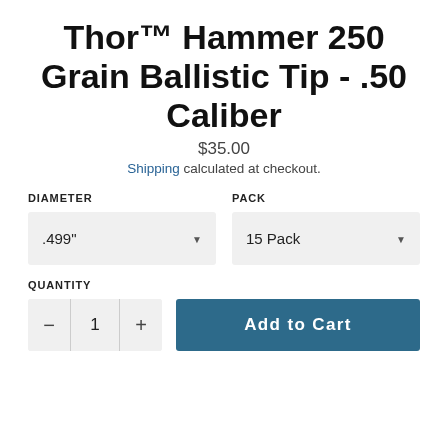Thor™ Hammer 250 Grain Ballistic Tip - .50 Caliber
$35.00
Shipping calculated at checkout.
DIAMETER
.499"
PACK
15 Pack
QUANTITY
1
Add to Cart